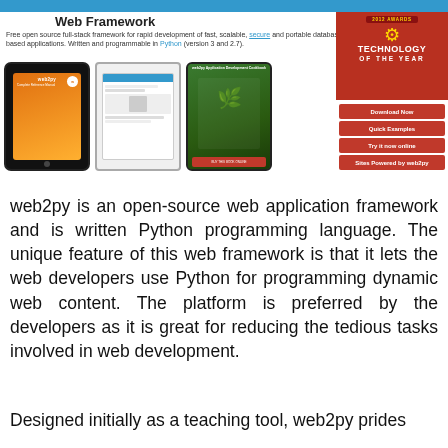Web Framework
Free open source full-stack framework for rapid development of fast, scalable, secure and portable database-driven web-based applications. Written and programmable in Python (version 3 and 2.7).
[Figure (screenshot): Three book/application images: orange gradient tablet cover for web2py book, laptop screenshot, and green plant cover for web2py Application Development Cookbook]
[Figure (infographic): Technology of the Year award badge (red background with gold gear icon) with four red buttons: Download Now, Quick Examples, Try it now online, Sites Powered by web2py]
web2py is an open-source web application framework and is written Python programming language. The unique feature of this web framework is that it lets the web developers use Python for programming dynamic web content. The platform is preferred by the developers as it is great for reducing the tedious tasks involved in web development.
Designed initially as a teaching tool, web2py prides